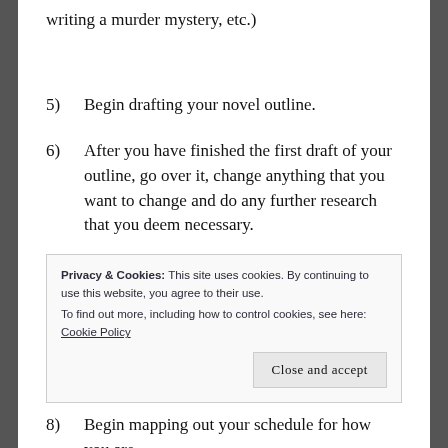writing a murder mystery, etc.)
5)    Begin drafting your novel outline.
6)    After you have finished the first draft of your outline, go over it, change anything that you want to change and do any further research that you deem necessary.
Privacy & Cookies: This site uses cookies. By continuing to use this website, you agree to their use.
To find out more, including how to control cookies, see here: Cookie Policy
Close and accept
8)    Begin mapping out your schedule for how you are